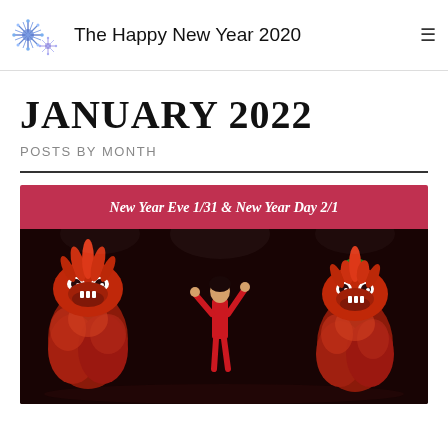The Happy New Year 2020
JANUARY 2022
POSTS BY MONTH
[Figure (photo): A promotional image with a red banner reading 'New Year Eve 1/31 & New Year Day 2/1' above a photo of Chinese lion dance performers on a dark stage with three lion costumes and a dancer in red costume in the center.]